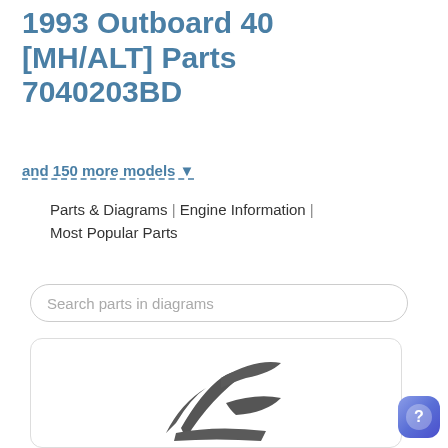1993 Outboard 40 [MH/ALT] Parts 7040203BD
and 150 more models ▼
Parts & Diagrams | Engine Information | Most Popular Parts
Search parts in diagrams
[Figure (illustration): Mercury Marine outboard engine parts diagram logo/icon — stylized propeller blades in dark gray]